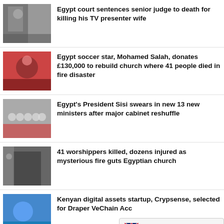Egypt court sentences senior judge to death for killing his TV presenter wife
Egypt soccer star, Mohamed Salah, donates £130,000 to rebuild church where 41 people died in fire disaster
Egypt's President Sisi swears in new 13 new ministers after major cabinet reshuffle
41 worshippers killed, dozens injured as mysterious fire guts Egyptian church
Kenyan digital assets startup, Crypsense, selected for Draper VeChain Accelerator